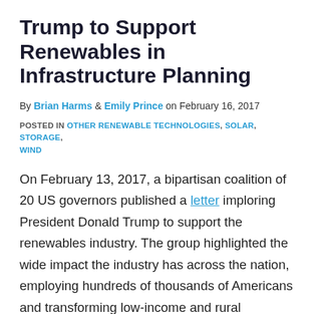Trump to Support Renewables in Infrastructure Planning
By Brian Harms & Emily Prince on February 16, 2017
POSTED IN OTHER RENEWABLE TECHNOLOGIES, SOLAR, STORAGE, WIND
On February 13, 2017, a bipartisan coalition of 20 US governors published a letter imploring President Donald Trump to support the renewables industry. The group highlighted the wide impact the industry has across the nation, employing hundreds of thousands of Americans and transforming low-income and rural communities. The Governors highlight four ways in which Congress and the Trump administration could help the renewables industry.